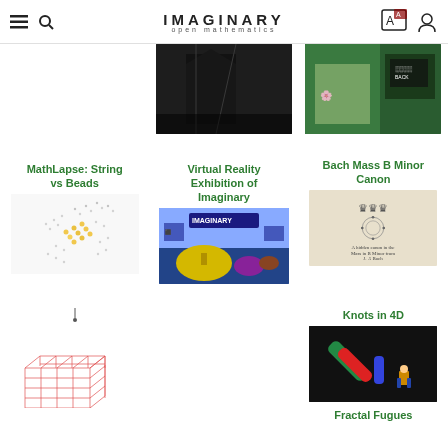IMAGINARY open mathematics
[Figure (photo): Dark overhead photo inside a building or transit space]
[Figure (photo): Festival or exhibition scene with QR code on chalkboard]
Bach Mass B Minor Canon
[Figure (illustration): Bach Mass B Minor Canon - hidden canon visualization on beige background]
MathLapse: String vs Beads
[Figure (photo): Yellow geometric dot/string 3D cube lattice visualization]
Virtual Reality Exhibition of Imaginary
[Figure (photo): VR exhibition colorful scene with IMAGINARY banner and large lamp shapes]
Knots in 4D
[Figure (photo): Dark background with colored cylindrical knot shapes in 3D, green and red/blue]
Fractal Fugues
[Figure (illustration): Red wireframe cube lattice 3D grid visualization (partial, bottom of page)]